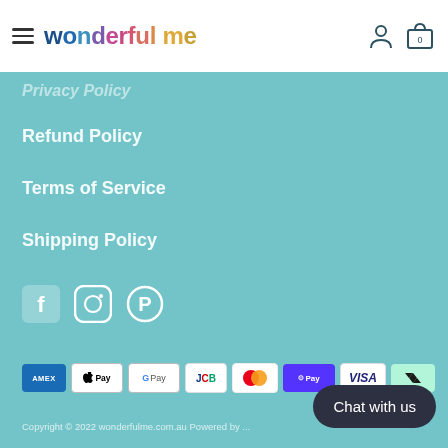wonderful me — navigation header with hamburger menu, person icon, and cart icon (0)
Privacy Policy
Refund Policy
Terms of Service
Shipping Policy
[Figure (infographic): Social media icons: Facebook, Instagram, Pinterest]
[Figure (infographic): Payment method badges: Amex, Apple Pay, Google Pay, JCB, Mastercard, Shop Pay, Visa, Afterpay]
Copyright © 2022 wonderfulme.com.au  Powered by ...
Chat with us